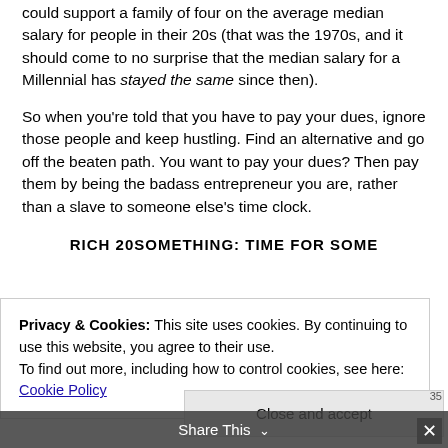could support a family of four on the average median salary for people in their 20s (that was the 1970s, and it should come to no surprise that the median salary for a Millennial has stayed the same since then).
So when you're told that you have to pay your dues, ignore those people and keep hustling. Find an alternative and go off the beaten path. You want to pay your dues? Then pay them by being the badass entrepreneur you are, rather than a slave to someone else's time clock.
RICH 20SOMETHING: TIME FOR SOME
Privacy & Cookies: This site uses cookies. By continuing to use this website, you agree to their use.
To find out more, including how to control cookies, see here: Cookie Policy
Close and accept
And spoiler alert: you are being DRASTICALLY
Share This